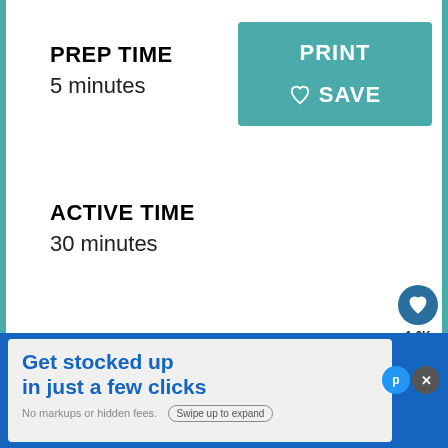PREP TIME
5 minutes
[Figure (screenshot): Teal button with PRINT and heart SAVE text]
ACTIVE TIME
30 minutes
TOTAL TIME
35 minutes
[Figure (infographic): Social sharing sidebar with heart icon showing 1.6K saves and share icon]
[Figure (infographic): What's Next: DIY Magnets Glass Stone... with thumbnail]
[Figure (screenshot): Advertisement: Get stocked up in just a few clicks. No markups or hidden fees. Swipe up to expand.]